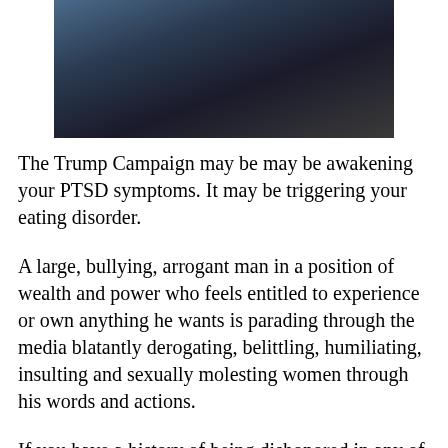[Figure (photo): Photograph of a woman with dark curly hair, resting her chin/hands near her face, wearing a blue jacket, against an outdoor background]
The Trump Campaign may be may be awakening your PTSD symptoms. It may be triggering your eating disorder.
A large, bullying, arrogant man in a position of wealth and power who feels entitled to experience or own anything he wants is parading through the media blatantly derogating, belittling, humiliating, insulting and sexually molesting women through his words and actions.
If you have a history of being dishonored in any of these ways, Donald Trump's words and non verbal actions we see through media and hear him describe, might well be the cause of your reliving your personal traumas now. You may know this and feel it. Or you may be oblivious to how his campaign is telling a...